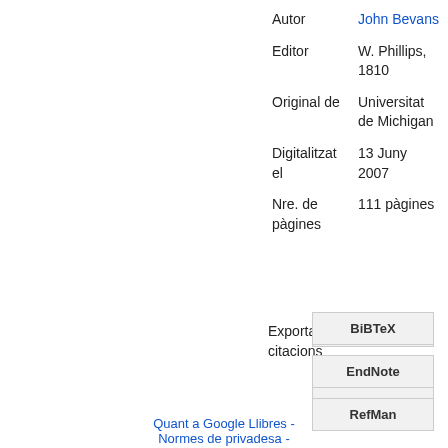| Autor | John Bevans |
| Editor | W. Phillips, 1810 |
| Original de | Universitat de Michigan |
| Digitalitzat el | 13 Juny 2007 |
| Nre. de pàgines | 111 pàgines |
Exporta citacions
BiBTeX
EndNote
RefMan
Quant a Google Llibres - Normes de privadesa -